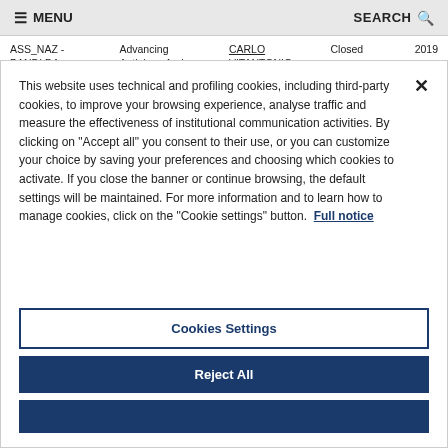≡ MENU   SEARCH 🔍
|  |  |  | Closed | 2019 |
| --- | --- | --- | --- | --- |
| ASS_NAZ - BANDI DA ASSOCIAZIONE E | Advancing Aetiology And Prevention Of | CARLO VITANTONIO BATTISTA LA | Closed | 2019 |
This website uses technical and profiling cookies, including third-party cookies, to improve your browsing experience, analyse traffic and measure the effectiveness of institutional communication activities. By clicking on "Accept all" you consent to their use, or you can customize your choice by saving your preferences and choosing which cookies to activate. If you close the banner or continue browsing, the default settings will be maintained. For more information and to learn how to manage cookies, click on the "Cookie settings" button. Full notice
Cookies Settings
Reject All